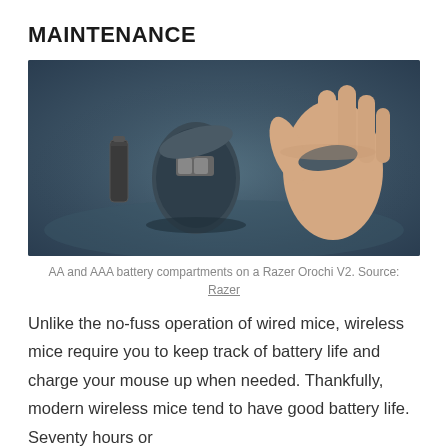MAINTENANCE
[Figure (photo): A hand lifting the cover of a Razer Orochi V2 wireless mouse, revealing the battery compartment with AA batteries inside and a single AA battery lying next to the mouse on a dark surface.]
AA and AAA battery compartments on a Razer Orochi V2. Source: Razer
Unlike the no-fuss operation of wired mice, wireless mice require you to keep track of battery life and charge your mouse up when needed. Thankfully, modern wireless mice tend to have good battery life. Seventy hours or